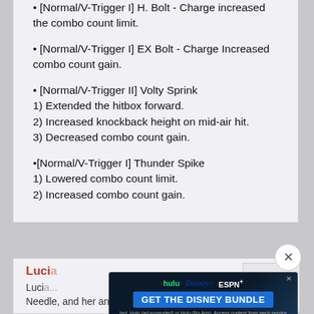[Normal/V-Trigger I] H. Bolt - Charge increased the combo count limit.
[Normal/V-Trigger I] EX Bolt - Charge Increased combo count gain.
[Normal/V-Trigger II] Volty Sprink
1) Extended the hitbox forward.
2) Increased knockback height on mid-air hit.
3) Decreased combo count gain.
[Normal/V-Trigger I] Thunder Spike
1) Lowered combo count limit.
2) Increased combo count gain.
Lucia
Lucia...
Needle, and her anti-air, Hurricane Spinner, have all
[Figure (screenshot): Advertisement banner for Disney Bundle (Hulu, Disney+, ESPN+) with blue background and GET THE DISNEY BUNDLE call to action]